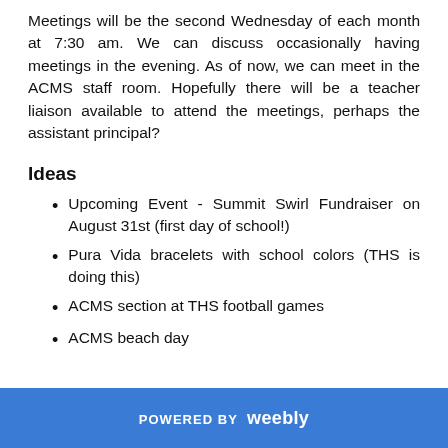Meetings will be the second Wednesday of each month at 7:30 am. We can discuss occasionally having meetings in the evening. As of now, we can meet in the ACMS staff room. Hopefully there will be a teacher liaison available to attend the meetings, perhaps the assistant principal?
Ideas
Upcoming Event - Summit Swirl Fundraiser on August 31st (first day of school!)
Pura Vida bracelets with school colors (THS is doing this)
ACMS section at THS football games
ACMS beach day
POWERED BY weebly